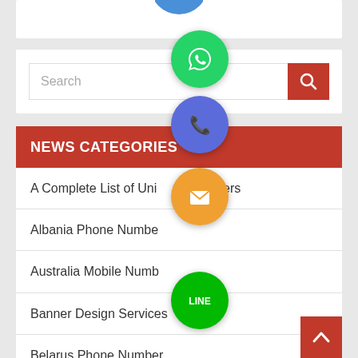[Figure (screenshot): Top white card area partially visible at top of page]
[Figure (screenshot): Search bar with text input and red search button]
NEWS CATEGORIES
A Complete List of Unique Numbers
Albania Phone Number
Australia Mobile Number
Banner Design Services
Belarus Phone Number
[Figure (illustration): WhatsApp green circle icon]
[Figure (illustration): Blue phone call circle icon]
[Figure (illustration): Orange email envelope circle icon]
[Figure (illustration): Green LINE app circle icon]
[Figure (illustration): Purple Viber circle icon]
[Figure (illustration): Green close/X circle icon]